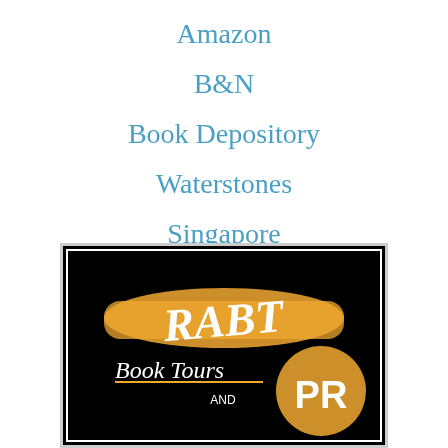Amazon
B&N
Book Depository
Waterstones
Singapore
Westside Books
[Figure (logo): RABT Book Tours and PR logo — black square with golden brushstroke, white script text reading RABT Book Tours AND PR]